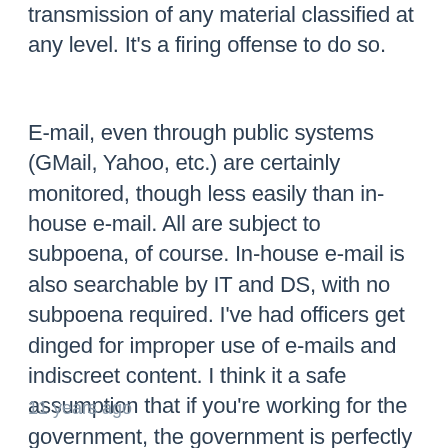transmission of any material classified at any level. It's a firing offense to do so.
E-mail, even through public systems (GMail, Yahoo, etc.) are certainly monitored, though less easily than in-house e-mail. All are subject to subpoena, of course. In-house e-mail is also searchable by IT and DS, with no subpoena required. I've had officers get dinged for improper use of e-mails and indiscreet content. I think it a safe assumption that if you're working for the government, the government is perfectly capable of watching what you're doing on company time.
11 years ago